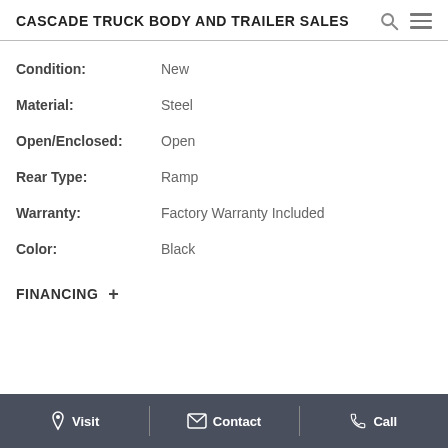CASCADE TRUCK BODY AND TRAILER SALES
| Field | Value |
| --- | --- |
| Condition: | New |
| Material: | Steel |
| Open/Enclosed: | Open |
| Rear Type: | Ramp |
| Warranty: | Factory Warranty Included |
| Color: | Black |
FINANCING +
Visit   Contact   Call